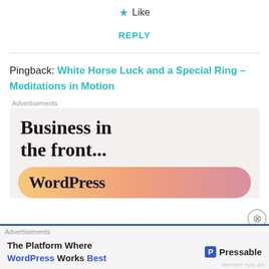★ Like
REPLY
Pingback: White Horse Luck and a Special Ring – Meditations in Motion
[Figure (screenshot): WordPress advertisement banner reading 'Business in the front...' with WordPress logo on gradient background]
[Figure (screenshot): Bottom ad bar: 'The Platform Where WordPress Works Best' with Pressable logo]